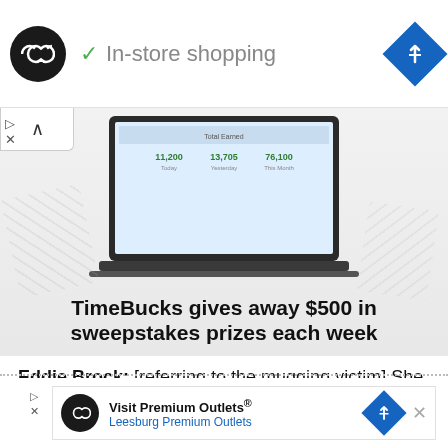[Figure (screenshot): Top advertisement banner with black circular logo with infinity/chain link symbol, green checkmark with 'In-store shopping' text, and blue diamond navigation icon on the right. Small play and X icons on the left margin below.]
[Figure (screenshot): Promotional banner image showing a laptop with a dashboard/analytics display, money bills in background. Bold text reads: 'TimeBucks gives away $500 in sweepstakes prizes each week'. Collapse chevron button in top-left corner.]
Eddie Brock: [referring to the mugging victim] She didn't want our help.
Venom: She did not know she needed our help, Eddie. There is a difference.
[Figure (screenshot): Bottom advertisement bar for 'Visit Premium Outlets® Leesburg Premium Outlets' with black circular logo, blue diamond navigation icon, and X close button. Play and X icons on left margin.]